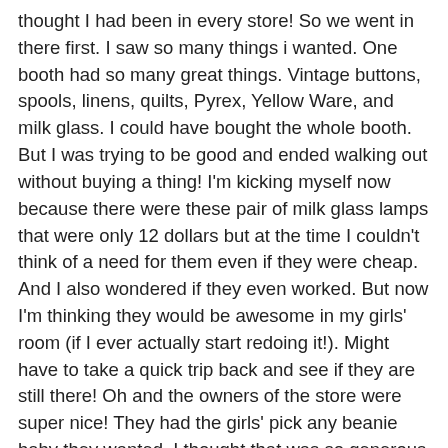thought I had been in every store!  So we went in there first.  I saw so many things i wanted.  One booth had so many great things.  Vintage buttons, spools, linens, quilts, Pyrex, Yellow Ware, and milk glass.  I could have bought the whole booth.  But I was trying to be good and ended walking out without buying a thing! I'm kicking myself now because there were these pair of milk glass lamps that were only 12 dollars but at the time I couldn't think of a need for them even if they were cheap.  And I also wondered if they even worked.  But now I'm thinking they would be awesome in my girls' room (if I ever actually start redoing it!).  Might have to take a quick trip back and see if they are still there!  Oh and the owners of the store were super nice!  They had the girls' pick any beanie baby they wanted.  I thought that was so generous and sweet.  Most antique stores aren't exactly kid friendly and usually would prefer if your kids stayed home.  Natalie picked out a bunny named Hoppity and Lily picked out a turtle named Speedy.  How funny is that?!
One of my fave shops is called Vintage Girls.  It's three floors of fabulousness!  My mom had me pick out my birthday present.  Here's what I chose: